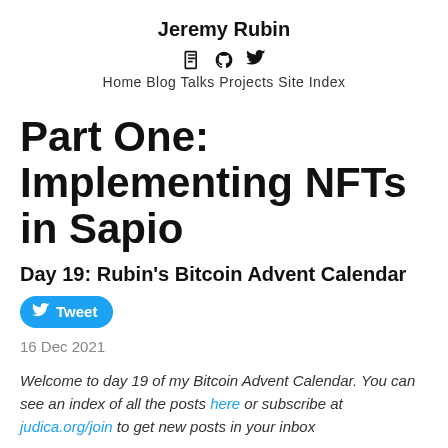Jeremy Rubin
Home Blog Talks Projects Site Index
Part One: Implementing NFTs in Sapio
Day 19: Rubin's Bitcoin Advent Calendar
Tweet
16 Dec 2021
Welcome to day 19 of my Bitcoin Advent Calendar. You can see an index of all the posts here or subscribe at judica.org/join to get new posts in your inbox